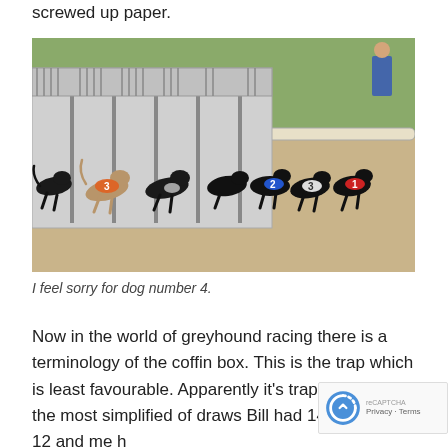screwed up paper.
[Figure (photo): Greyhound dogs racing out of starting traps on a sandy track. Dogs wearing numbered jackets: orange #3, blue #2, red #1 visible. Starting boxes are white metal structures. Green grass visible in the background.]
I feel sorry for dog number 4.
Now in the world of greyhound racing there is a terminology of the coffin box. This is the trap which is least favourable. Apparently it's trap 4. Well at the most simplified of draws Bill had 14 Jeff drew 12 and me h...